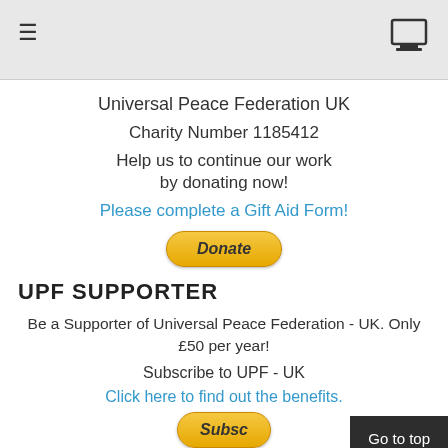≡  [monitor icon]
Universal Peace Federation UK
Charity Number 1185412
Help us to continue our work
by donating now!
Please complete a Gift Aid Form!
[Figure (other): PayPal Donate button]
UPF SUPPORTER
Be a Supporter of Universal Peace Federation - UK. Only £50 per year!
Subscribe to UPF - UK
Click here to find out the benefits.
[Figure (other): PayPal Subscribe button with Go to top overlay]